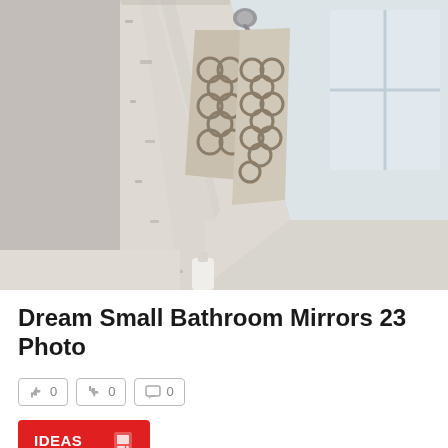[Figure (photo): A distressed white-painted wooden mirror frame in a bathroom, with patterned grey and beige hand towels hanging on a hook to the left, and a window reflection visible in the mirror.]
Dream Small Bathroom Mirrors 23 Photo
[Figure (photo): Partial view of a second bathroom photo at the bottom of the page, showing a light-colored bathroom interior.]